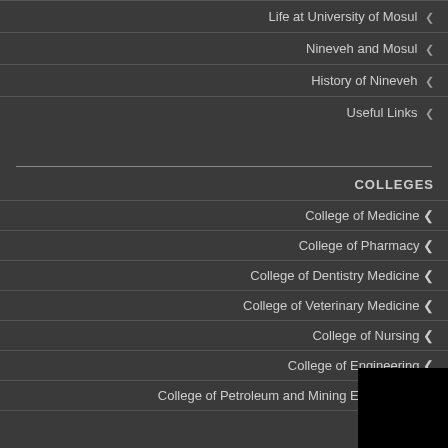Life at University of Mosul
Nineveh and Mosul
History of Nineveh
Useful Links
COLLEGES
College of Medicine
College of Pharmacy
College of Dentistry Medicine
College of Veterinary Medicine
College of Nursing
College of Engineering
College of Petroleum and Mining Engineering